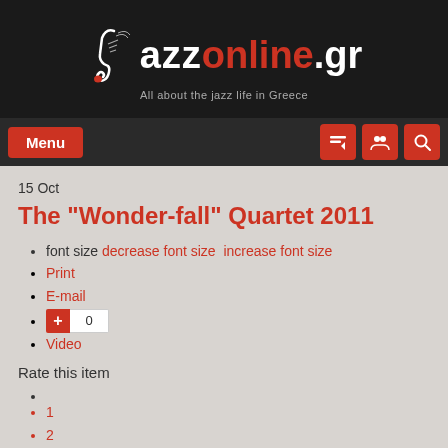jazzonline.gr — All about the jazz life in Greece
15 Oct
The "Wonder-fall" Quartet 2011
font size decrease font size  increase font size
Print
E-mail
+ 0
Video
Rate this item
1
2
3
4
5